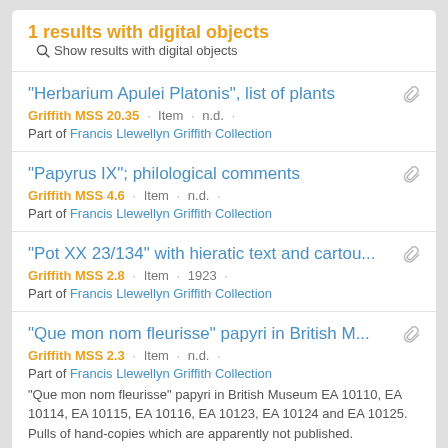1 results with digital objects  Show results with digital objects
"Herbarium Apulei Platonis", list of plants
Griffith MSS 20.35 · Item · n.d. ·
Part of Francis Llewellyn Griffith Collection
"Papyrus IX"; philological comments
Griffith MSS 4.6 · Item · n.d. ·
Part of Francis Llewellyn Griffith Collection
"Pot XX 23/134" with hieratic text and cartou...
Griffith MSS 2.8 · Item · 1923 ·
Part of Francis Llewellyn Griffith Collection
"Que mon nom fleurisse" papyri in British M...
Griffith MSS 2.3 · Item · n.d. ·
Part of Francis Llewellyn Griffith Collection
"Que mon nom fleurisse" papyri in British Museum EA 10110, EA 10114, EA 10115, EA 10116, EA 10123, EA 10124 and EA 10125. Pulls of hand-copies which are apparently not published.